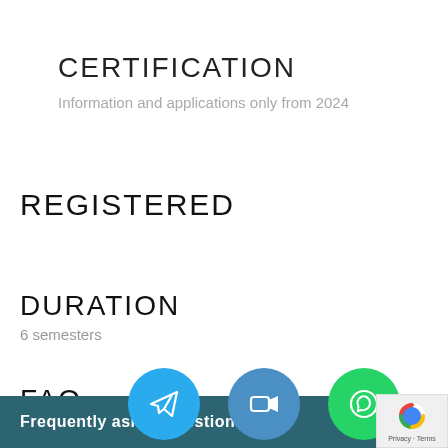CERTIFICATION
Information and applications only from 2024
REGISTERED
DURATION
6 semesters
FAQ
Frequently asked questions
[Figure (infographic): Three circular social/communication buttons: Telegram (blue), Video call (blue), WhatsApp (green), plus a reCAPTCHA badge in the bottom right corner]